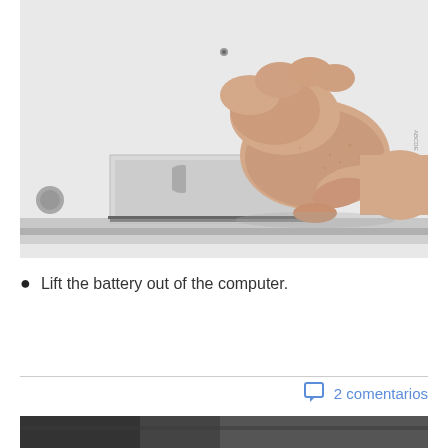[Figure (photo): A hand lifting a laptop battery from the bottom of a white MacBook laptop, showing the underside of the computer with the battery compartment open.]
Lift the battery out of the computer.
2 comentarios